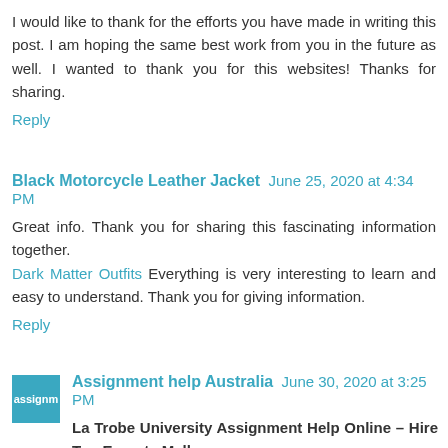I would like to thank for the efforts you have made in writing this post. I am hoping the same best work from you in the future as well. I wanted to thank you for this websites! Thanks for sharing.
Reply
Black Motorcycle Leather Jacket  June 25, 2020 at 4:34 PM
Great info. Thank you for sharing this fascinating information together. Dark Matter Outfits Everything is very interesting to learn and easy to understand. Thank you for giving information.
Reply
[Figure (logo): Assignment help Australia teal/turquoise square logo with white text 'assignm']
Assignment help Australia  June 30, 2020 at 3:25 PM
La Trobe University Assignment Help Online – Hire Top Experts Melbourne
Hire specialist to get the leading La Trobe University